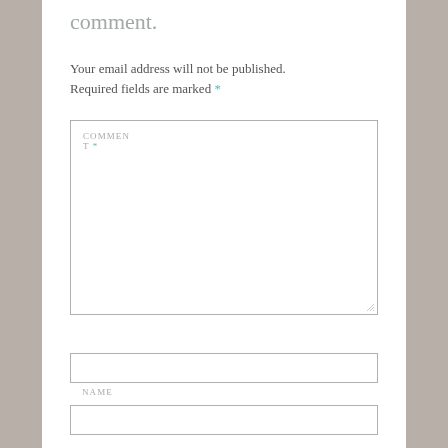comment.
Your email address will not be published. Required fields are marked *
COMMENT *
NAME